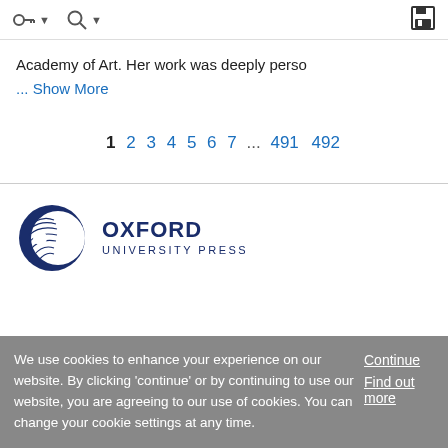toolbar with navigation icons and save button
Academy of Art. Her work was deeply perso
... Show More
1 2 3 4 5 6 7 ... 491 492
[Figure (logo): Oxford University Press logo with circular emblem and text OXFORD UNIVERSITY PRESS]
We use cookies to enhance your experience on our website. By clicking 'continue' or by continuing to use our website, you are agreeing to our use of cookies. You can change your cookie settings at any time.
Continue Find out more